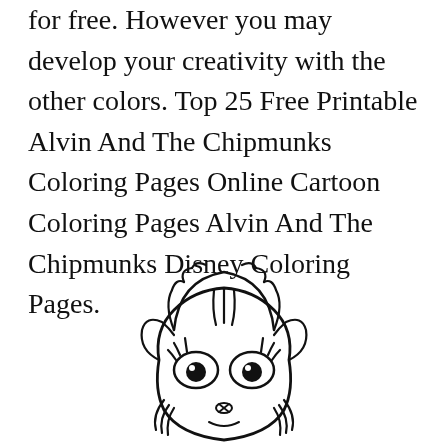for free. However you may develop your creativity with the other colors. Top 25 Free Printable Alvin And The Chipmunks Coloring Pages Online Cartoon Coloring Pages Alvin And The Chipmunks Disney Coloring Pages.
[Figure (illustration): A black and white coloring page illustration of a chipmunk character (from Alvin and the Chipmunks) showing just the head and upper body with large expressive eyes, fluffy fur on top, small ears, and a nose with a small X mark.]